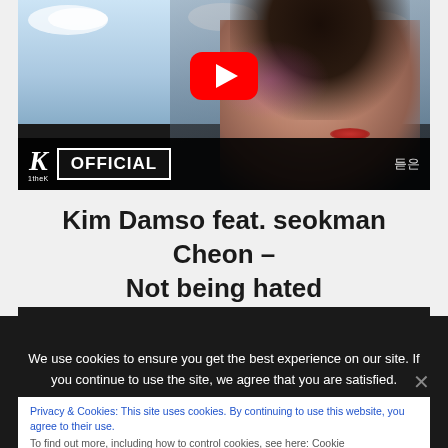[Figure (screenshot): YouTube video thumbnail showing a woman's face with 1theK OFFICIAL branding and a red YouTube play button]
Kim Damso feat. seokman Cheon – Not being hated
[Figure (screenshot): Second video thumbnail showing MM channel logo and title [M/V] Kim Damso (김담소) - Not b... with M/V overlay]
Privacy & Cookies: This site uses cookies. By continuing to use this website, you agree to their use.
To find out more, including how to control cookies, see here: Cookie...
We use cookies to ensure you get the best experience on our site. If you continue to use the site, we agree that you are satisfied.
Accept   Refuse   Read more